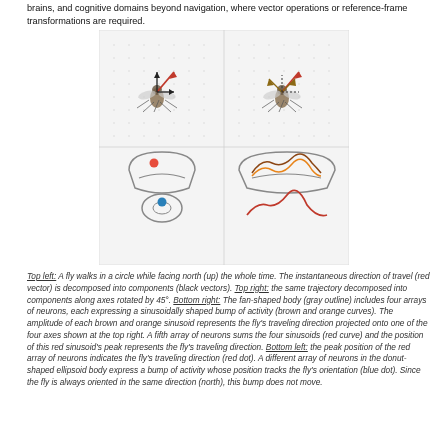brains, and cognitive domains beyond navigation, where vector operations or reference-frame transformations are required.
[Figure (illustration): Four-panel scientific illustration. Top left: top-down view of a fly with a red vector and black component vectors on a grid background. Top right: same fly/trajectory with axes rotated 45 degrees. Bottom left: fan-shaped body (gray outline) with red dot and donut-shaped ellipsoid body with blue dot. Bottom right: fan-shaped body outline with brown/orange sinusoidal bumps and a red sinusoidal curve below.]
Top left: A fly walks in a circle while facing north (up) the whole time. The instantaneous direction of travel (red vector) is decomposed into components (black vectors). Top right: the same trajectory decomposed into components along axes rotated by 45°. Bottom right: The fan-shaped body (gray outline) includes four arrays of neurons, each expressing a sinusoidally shaped bump of activity (brown and orange curves). The amplitude of each brown and orange sinusoid represents the fly's traveling direction projected onto one of the four axes shown at the top right. A fifth array of neurons sums the four sinusoids (red curve) and the position of this red sinusoid's peak represents the fly's traveling direction. Bottom left: the peak position of the red array of neurons indicates the fly's traveling direction (red dot). A different array of neurons in the donut-shaped ellipsoid body express a bump of activity whose position tracks the fly's orientation (blue dot). Since the fly is always oriented in the same direction (north), this bump does not move.